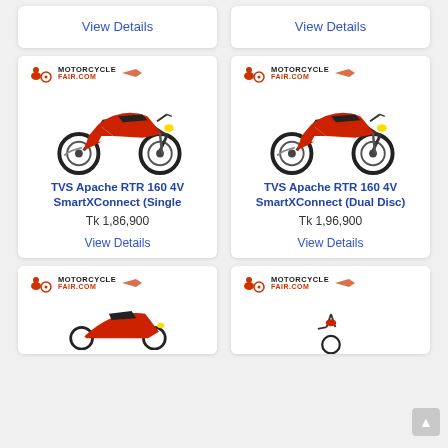View Details
View Details
[Figure (photo): TVS Apache RTR 160 4V motorcycle with MotorcycleFair.com logo, red and black color]
TVS Apache RTR 160 4V SmartXConnect (Single
Tk 1,86,900
View Details
[Figure (photo): TVS Apache RTR 160 4V motorcycle with MotorcycleFair.com logo, red and black color]
TVS Apache RTR 160 4V SmartXConnect (Dual Disc)
Tk 1,96,900
View Details
[Figure (photo): Motorcycle partial view with MotorcycleFair.com logo, red scooter]
[Figure (photo): Motorcycle partial view with MotorcycleFair.com logo]